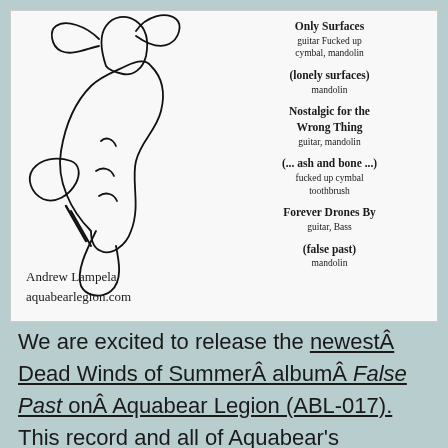[Figure (illustration): Hand-drawn sketch of a creature (possibly a bear or animal figure) on white background, with handwritten album track notes on the right side listing: 'Only Surfaces guitar Fucked up cymbal, mandolin', '(lonely surfaces) mandolin', 'Nostalgic for the Wrong Thing guitar, mandolin', '(... ash and bone...) fucked up cymbal toothbrush', 'Forever Drones By guitar, Bass', '(False past) mandolin'. Bottom left shows handwritten 'Andrew Lampela aquabearlegion.com'.]
We are excited to release the newest Dead Winds of Summer album False Past on Aquabear Legion (ABL-017). This record and all of Aquabear's streaming releases are